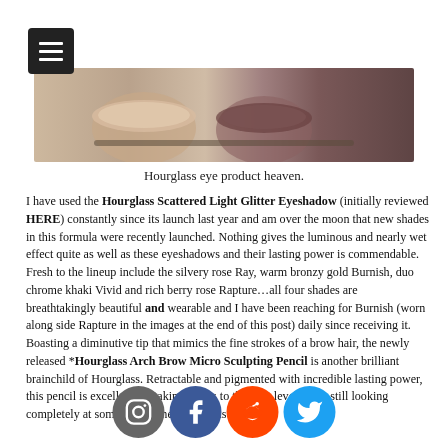[Figure (photo): Close-up photo of Hourglass eye products — cream eyeshadow pots and pencils on a textured surface.]
Hourglass eye product heaven.
I have used the Hourglass Scattered Light Glitter Eyeshadow (initially reviewed HERE) constantly since its launch last year and am over the moon that new shades in this formula were recently launched. Nothing gives the luminous and nearly wet effect quite as well as these eyeshadows and their lasting power is commendable. Fresh to the lineup include the silvery rose Ray, warm bronzy gold Burnish, duo chrome khaki Vivid and rich berry rose Rapture…all four shades are breathtakingly beautiful and wearable and I have been reaching for Burnish (worn along side Rapture in the images at the end of this post) daily since receiving it.
Boasting a diminutive tip that mimics the fine strokes of a brow hair, the newly released *Hourglass Arch Brow Micro Sculpting Pencil is another brilliant brainchild of Hourglass. Retractable and pigmented with incredible lasting power, this pencil is excellent for taking brows to the next level while still looking completely natural (as someone who watched below) is product to try.